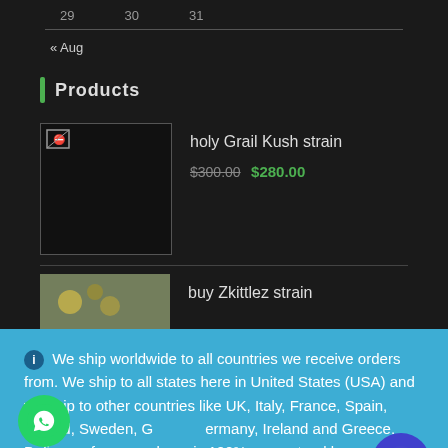29   30   31
« Aug
Products
holy Grail Kush strain  $300.00  $280.00
buy Zkittlez strain
We ship worldwide to all countries we receive orders from. We ship to all states here in United States (USA) and we ship to other countries like UK, Italy, France, Spain, Poland, Sweden, Germany, Ireland and Greece. Delivery of your package is 100% guaranteed by us.
Dismiss